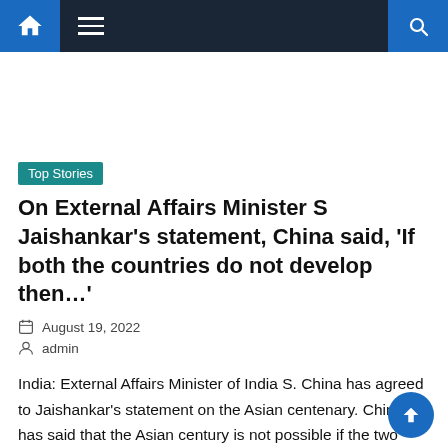Navigation bar with home, menu, and search icons
Top Stories
On External Affairs Minister S Jaishankar's statement, China said, 'If both the countries do not develop then…'
August 19, 2022
admin
India: External Affairs Minister of India S. China has agreed to Jaishankar's statement on the Asian centenary. China has said that the Asian century is not possible if the two neighboring countries do not join hands. Along with this, it